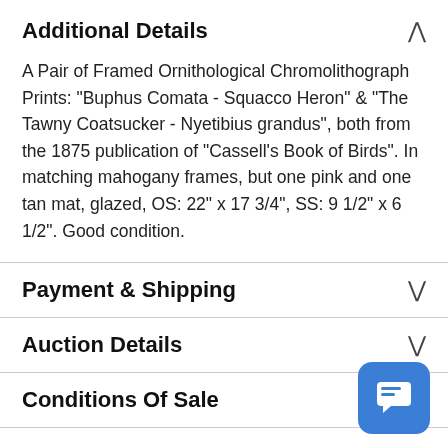Additional Details
A Pair of Framed Ornithological Chromolithograph Prints: "Buphus Comata - Squacco Heron" & "The Tawny Coatsucker - Nyetibius grandus", both from the 1875 publication of "Cassell's Book of Birds". In matching mahogany frames, but one pink and one tan mat, glazed, OS: 22" x 17 3/4", SS: 9 1/2" x 6 1/2". Good condition.
Payment & Shipping
Auction Details
Conditions Of Sale